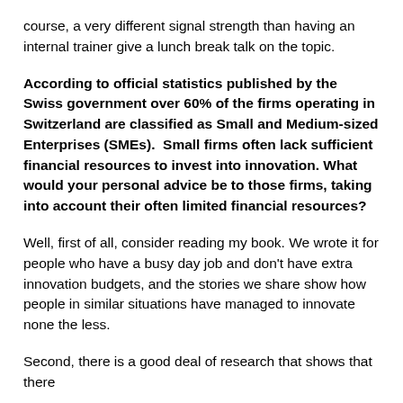course, a very different signal strength than having an internal trainer give a lunch break talk on the topic.
According to official statistics published by the Swiss government over 60% of the firms operating in Switzerland are classified as Small and Medium-sized Enterprises (SMEs).  Small firms often lack sufficient financial resources to invest into innovation. What would your personal advice be to those firms, taking into account their often limited financial resources?
Well, first of all, consider reading my book. We wrote it for people who have a busy day job and don't have extra innovation budgets, and the stories we share show how people in similar situations have managed to innovate none the less.
Second, there is a good deal of research that shows that there